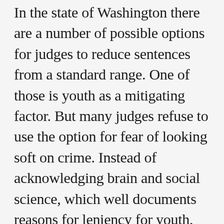In the state of Washington there are a number of possible options for judges to reduce sentences from a standard range. One of those is youth as a mitigating factor. But many judges refuse to use the option for fear of looking soft on crime. Instead of acknowledging brain and social science, which well documents reasons for leniency for youth, they feel compelled to send a then 20 year old to prison for a decade or more. Marked with a class A felony for life, these youth have really no hope of even coming close to realizing their potential in their lifetime.